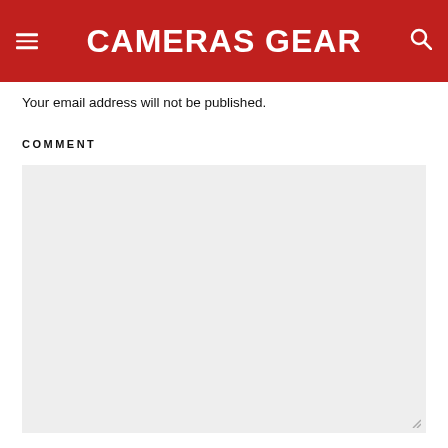CAMERAS GEAR
Your email address will not be published.
COMMENT